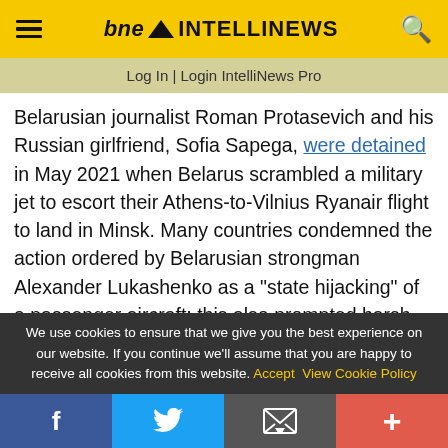bne INTELLINEWS
Log In | Login IntelliNews Pro
Belarusian journalist Roman Protasevich and his Russian girlfriend, Sofia Sapega, were detained in May 2021 when Belarus scrambled a military jet to escort their Athens-to-Vilnius Ryanair flight to land in Minsk. Many countries condemned the action ordered by Belarusian strongman Alexander Lukashenko as a "state hijacking" of a passenger aircraft; this also prompted harsh sanctions from Western countries.
We use cookies to ensure that we give you the best experience on our website. If you continue we'll assume that you are happy to receive all cookies from this website. Accept View Cookie Policy
f | Twitter | Email | +